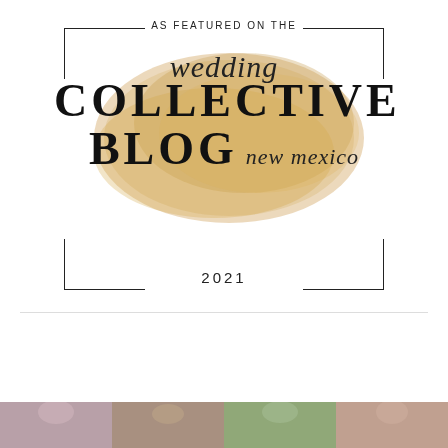[Figure (logo): Wedding Collective Blog New Mexico 2021 logo with gold watercolor brushstroke background, corner bracket frame, and text 'AS FEATURED ON THE' at top and '2021' at bottom]
CONNECT WITH A PROFESSIONAL WEDDING PLANNER FOR YOUR VERY OWN FREE, 30-MINUTE COACHING SESSION!
[Figure (photo): Partial photo strip at bottom showing people, appears to be wedding-related photos]